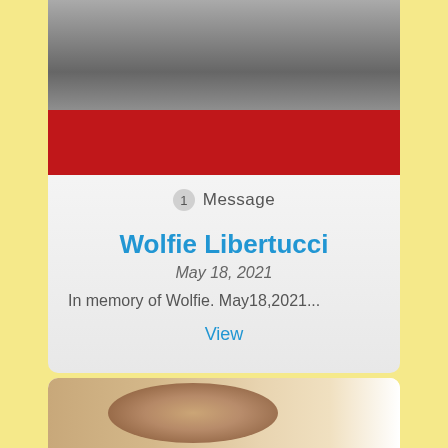[Figure (photo): Photo of a dog or pet near a red car or red surface, partially visible from top]
1  Message
Wolfie Libertucci
May 18, 2021
In memory of Wolfie. May18,2021...
View
[Figure (photo): Partial photo of a light-colored animal, bottom portion cut off]